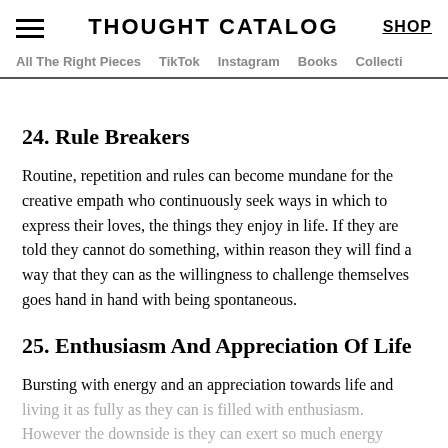THOUGHT CATALOG | SHOP | All The Right Pieces | TikTok | Instagram | Books | Collecti
24. Rule Breakers
Routine, repetition and rules can become mundane for the creative empath who continuously seek ways in which to express their loves, the things they enjoy in life. If they are told they cannot do something, within reason they will find a way that they can as the willingness to challenge themselves goes hand in hand with being spontaneous.
25. Enthusiasm And Appreciation Of Life
Bursting with energy and an appreciation towards life and living it as fully as they can is filled with enthusiasm. However the downside is they can exert so much energy